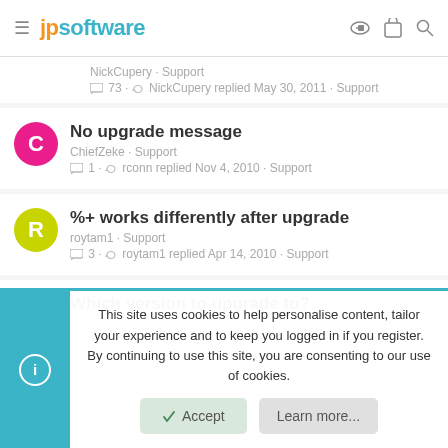jpsoftware
NickCupery · Support
73 · NickCupery replied May 30, 2011 · Support
No upgrade message
ChiefZeke · Support
1 · rconn replied Nov 4, 2010 · Support
%+ works differently after upgrade
roytam1 · Support
3 · roytam1 replied Apr 14, 2010 · Support
Which version to upgrade to?
This site uses cookies to help personalise content, tailor your experience and to keep you logged in if you register.
By continuing to use this site, you are consenting to our use of cookies.